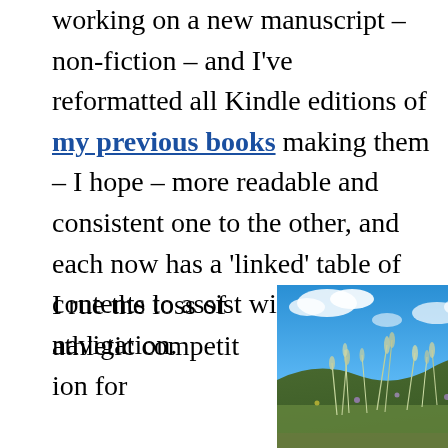working on a new manuscript – non-fiction – and I've reformatted all Kindle editions of my previous books making them – I hope – more readable and consistent one to the other, and each now has a 'linked' table of contents to assist with electronic navigation.
I rue the loss of athletic competition for
[Figure (photo): Outdoor photo of wildflowers and grasses on a hillside against a bright blue sky with white clouds]